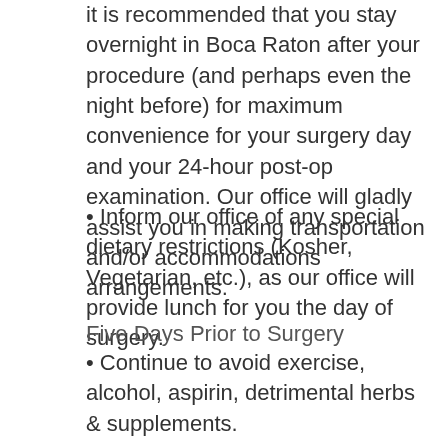it is recommended that you stay overnight in Boca Raton after your procedure (and perhaps even the night before) for maximum convenience for your surgery day and your 24-hour post-op examination. Our office will gladly assist you in making transportation and/or accommodations arrangements.
• Inform our office of any special dietary restrictions (Kosher, Vegetarian, etc.), as our office will provide lunch for you the day of surgery.
Five Days Prior to Surgery
• Continue to avoid exercise, alcohol, aspirin, detrimental herbs & supplements.
• Begin high-protein diet and continue for two weeks following surgery for optimal healing.
• Absolutely NO heavy workouts or high-impact sports.
• Confirm post-op healing regimen (hyperbaric oxygen, copper-soaks, laser therapy, etc.).
One Day Prior to Surgery
• Shampoo/condition your hair/scalp with your regular hair